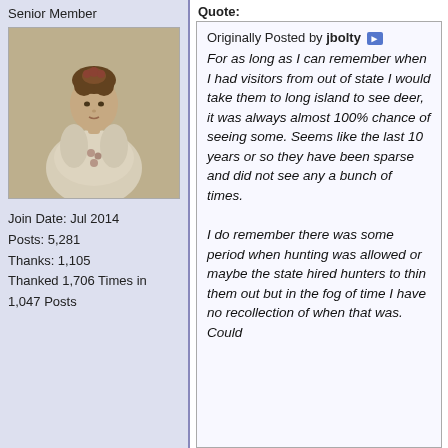Senior Member
[Figure (photo): Black and white vintage portrait photo of a woman in Victorian-era dress]
Join Date: Jul 2014
Posts: 5,281
Thanks: 1,105
Thanked 1,706 Times in 1,047 Posts
Quote:
Originally Posted by jbolty
For as long as I can remember when I had visitors from out of state I would take them to long island to see deer, it was always almost 100% chance of seeing some. Seems like the last 10 years or so they have been sparse and did not see any a bunch of times.

I do remember there was some period when hunting was allowed or maybe the state hired hunters to thin them out but in the fog of time I have no recollection of when that was. Could